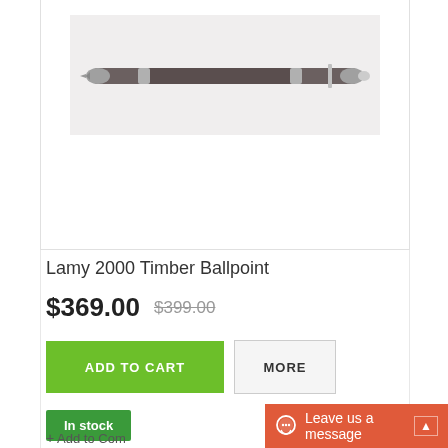[Figure (photo): A dark brown/grey ballpoint pen (Lamy 2000 Timber Ballpoint) with silver metallic tips and clip, displayed horizontally on a light grey background]
Lamy 2000 Timber Ballpoint
$369.00  $399.00
ADD TO CART
MORE
In stock
+ Add to Com
Leave us a message